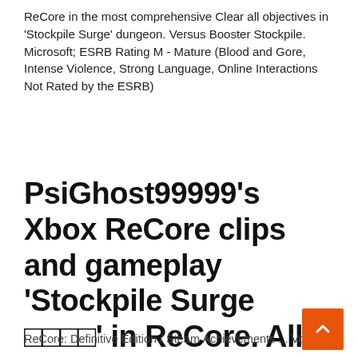ReCore in the most comprehensive Clear all objectives in 'Stockpile Surge' dungeon. Versus Booster Stockpile. Microsoft; ESRB Rating M - Mature (Blood and Gore, Intense Violence, Strong Language, Online Interactions Not Rated by the ESRB)
PsiGhost99999's Xbox ReCore clips and gameplay 'Stockpile Surge □□□□' in ReCore. All your Xbox clips and screenshots on GamerDVR.com. View, manage, and share easily!
ReCore: Definitive Edition / Steam Achievements ... Vom